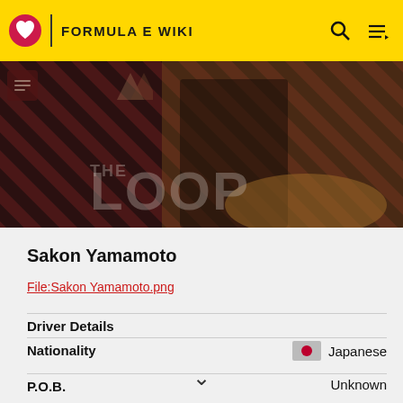FORMULA E WIKI
[Figure (screenshot): The Loop banner image with dark background, diagonal stripe pattern, and text overlay reading THE LOOP]
Sakon Yamamoto
File:Sakon Yamamoto.png
Driver Details
| Field | Value |
| --- | --- |
| Nationality | Japanese |
| P.O.B. | Unknown |